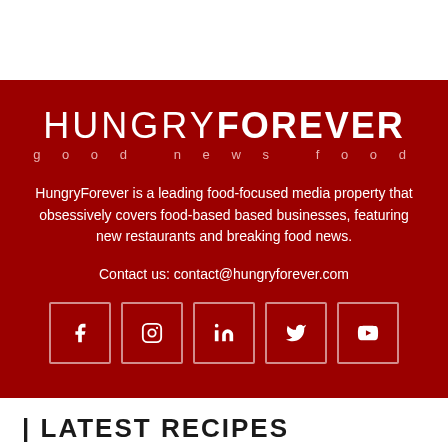[Figure (logo): HungryForever logo with tagline 'good news food' on dark red background]
HungryForever is a leading food-focused media property that obsessively covers food-based based businesses, featuring new restaurants and breaking food news.
Contact us: contact@hungryforever.com
[Figure (other): Social media icons: Facebook, Instagram, LinkedIn, Twitter, YouTube]
LATEST RECIPES